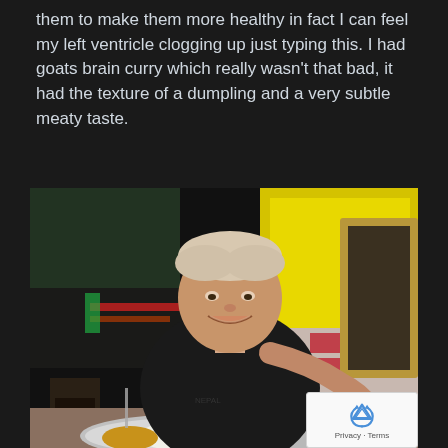them to make them more healthy in fact I can feel my left ventricle clogging up just typing this. I had goats brain curry which really wasn't that bad, it had the texture of a dumpling and a very subtle meaty taste.
[Figure (photo): A young man with short light-colored hair wearing a black t-shirt with 'NEPAL' text sits at a restaurant table, smiling and eating from a traditional Nepali thali plate with rice, curry and various side dishes in small metal bowls. The background shows a bright yellow wall and restaurant fixtures.]